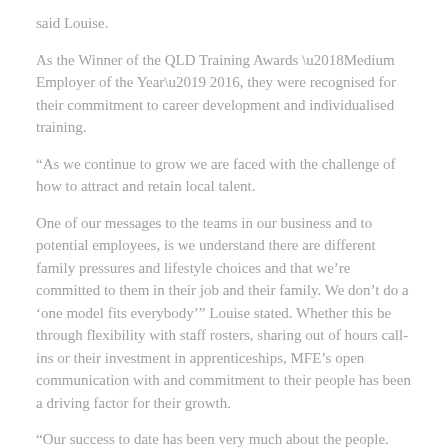said Louise.
As the Winner of the QLD Training Awards ‘Medium Employer of the Year’ 2016, they were recognised for their commitment to career development and individualised training.
“As we continue to grow we are faced with the challenge of how to attract and retain local talent.
One of our messages to the teams in our business and to potential employees, is we understand there are different family pressures and lifestyle choices and that we’re committed to them in their job and their family. We don’t do a ‘one model fits everybody’” Louise stated. Whether this be through flexibility with staff rosters, sharing out of hours call-ins or their investment in apprenticeships, MFE’s open communication with and commitment to their people has been a driving factor for their growth.
"Our success to date has been very much about the people. They are the foundation of the culture, of the community and the ones who deliver our promises to our customers" said Greg McMahon, Managing Director of MFE.